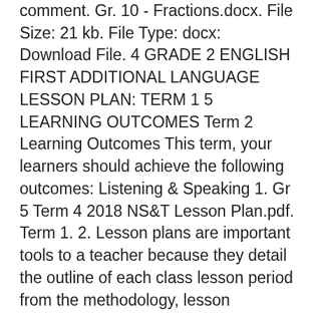comment. Gr. 10 - Fractions.docx. File Size: 21 kb. File Type: docx: Download File. 4 GRADE 2 ENGLISH FIRST ADDITIONAL LANGUAGE LESSON PLAN: TERM 1 5 LEARNING OUTCOMES Term 2 Learning Outcomes This term, your learners should achieve the following outcomes: Listening & Speaking 1. Gr 5 Term 4 2018 NS&T Lesson Plan.pdf. Term 1. 2. Lesson plans are important tools to a teacher because they detail the outline of each class lesson period from the methodology, lesson development and assessment. Lesson Plan 1 - Gr.10 - Fractions. Teachers are requested to look at them, modify them where necessary to suit their contexts and resources. 8th Lesson Plan - Term 2 - English Sir Issac Newton - Download PowerPoint. Term 1, Term 2 & Revision Registration Form 2015. 48.5 Hrs. Content focus / Topic: The quest for liberty . You will find the rubrics and memoranda either in the lesson plan, or in the tracker